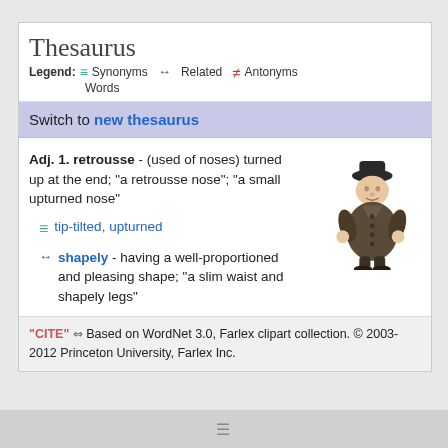Thesaurus
Legend: ≡ Synonyms ↔ Related ≠ Antonyms Words
Switch to new thesaurus
Adj. 1. retrousse - (used of noses) turned up at the end; "a retrousse nose"; "a small upturned nose"
≡ tip-tilted, upturned
↔ shapely - having a well-proportioned and pleasing shape; "a slim waist and shapely legs"
[Figure (illustration): Cartoon illustration of a short round man wearing a coat and hat]
"CITE" ⇔ Based on WordNet 3.0, Farlex clipart collection. © 2003-2012 Princeton University, Farlex Inc.